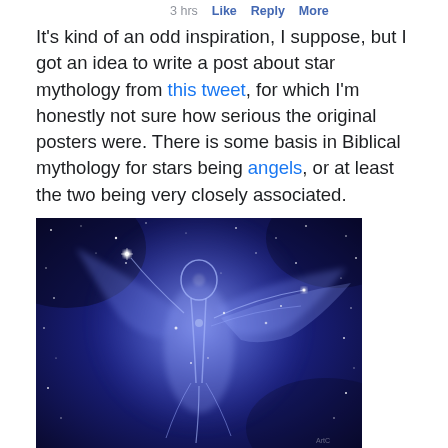3 hrs   Like   Reply   More
It's kind of an odd inspiration, I suppose, but I got an idea to write a post about star mythology from this tweet, for which I'm honestly not sure how serious the original posters were. There is some basis in Biblical mythology for stars being angels, or at least the two being very closely associated.
[Figure (illustration): An ethereal glowing angel figure made of blue light and stars against a deep blue cosmic starfield background. The figure appears to be in motion with wings outstretched.]